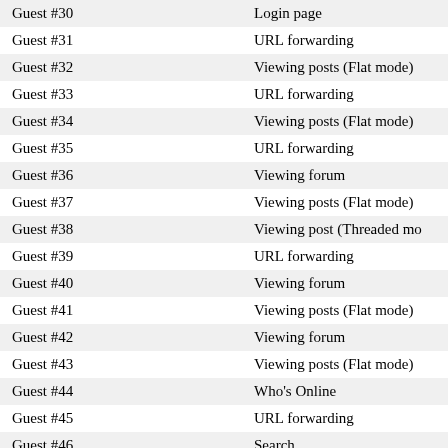| Guest | Page/Action |
| --- | --- |
| Guest #30 | Login page |
| Guest #31 | URL forwarding |
| Guest #32 | Viewing posts (Flat mode) |
| Guest #33 | URL forwarding |
| Guest #34 | Viewing posts (Flat mode) |
| Guest #35 | URL forwarding |
| Guest #36 | Viewing forum |
| Guest #37 | Viewing posts (Flat mode) |
| Guest #38 | Viewing post (Threaded mo… |
| Guest #39 | URL forwarding |
| Guest #40 | Viewing forum |
| Guest #41 | Viewing posts (Flat mode) |
| Guest #42 | Viewing forum |
| Guest #43 | Viewing posts (Flat mode) |
| Guest #44 | Who's Online |
| Guest #45 | URL forwarding |
| Guest #46 | Search |
| Guest #47 | URL forwarding |
| Guest #48 | Viewing posts (Flat mode) |